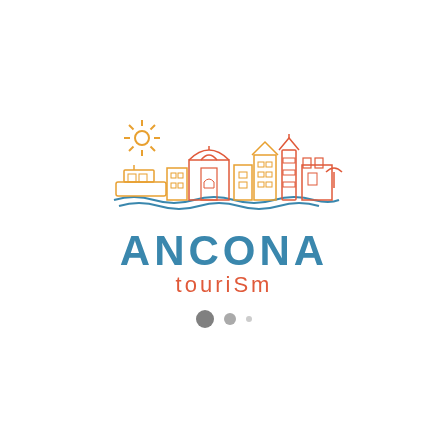[Figure (logo): Ancona Tourism logo: a colorful line-art cityscape showing buildings, domes, a lighthouse, a ship, sun rays, and waves in orange, red, and blue tones, with the text ANCONA in bold blue capitals and 'tourism' in red below.]
[Figure (other): Three dots of decreasing size (dark gray, medium gray, light gray) indicating a loading indicator or pagination.]